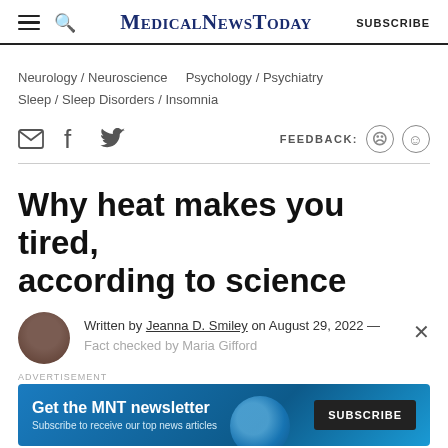MedicalNewsToday SUBSCRIBE
Neurology / Neuroscience   Psychology / Psychiatry   Sleep / Sleep Disorders / Insomnia
Why heat makes you tired, according to science
Written by Jeanna D. Smiley on August 29, 2022 — Fact checked by Maria Gifford
ADVERTISEMENT
Get the MNT newsletter Subscribe to receive our top news articles SUBSCRIBE